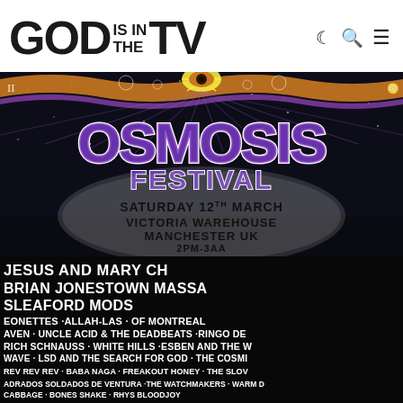GOD IS IN THE TV
[Figure (illustration): Osmosis Festival promotional poster. Psychedelic design with a purple groovy 'Osmosis Festival' logo over a cosmic/space background with an eye motif at the top. Text reads: SATURDAY 12TH MARCH / VICTORIA WAREHOUSE / MANCHESTER UK / 2PM-3AA. Below on black background: JESUS AND MARY CH[AIN] / BRIAN JONESTOWN MASSA[CRE] / SLEAFORD MODS / [RON]EONETTES · ALLAH-LAS · OF MONTREAL / [H]AVEN · UNCLE ACID & THE DEADBEATS · RINGO DE[AMO] / [UL]RICH SCHNAUSS · WHITE HILLS · ESBEN AND THE W[ITCH] / [NEW] WAVE · LSD AND THE SEARCH FOR GOD · THE COSMI[C] / [A]CID DREAM · THE EMPEROR MACHINE · K×P · LO[...] / SONIC JESUS · THE UNDERGROUND YOUTH · P[...] / AGNES · BRAHMA-LOKA · THE ALTERED HOURS · THE [...] / BLACK DELTA MOVEMENT · PURPLE HEART PARADE · ENE[...] / REV REV REV · BABA NAGA · FREAKOUT HONEY · THE SLOV[...] / [CU]ADRADOS SOLDADOS DE VENTURA · THE WATCHMAKERS · WARM [...] / CABBAGE · BONES SHAKE · RHYS BLOODJOY]